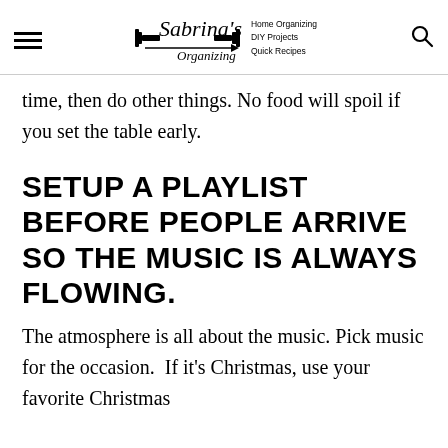Sabrina's Organizing | Home Organizing | DIY Projects | Quick Recipes
time, then do other things. No food will spoil if you set the table early.
SETUP A PLAYLIST BEFORE PEOPLE ARRIVE SO THE MUSIC IS ALWAYS FLOWING.
The atmosphere is all about the music. Pick music for the occasion.  If it's Christmas, use your favorite Christmas